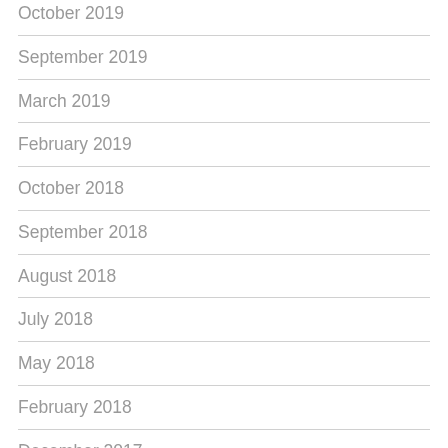October 2019
September 2019
March 2019
February 2019
October 2018
September 2018
August 2018
July 2018
May 2018
February 2018
December 2017
November 2017